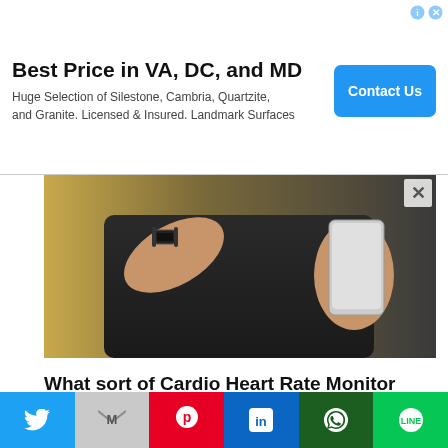[Figure (other): Advertisement banner: Best Price in VA, DC, and MD. Huge Selection of Silestone, Cambria, Quartzite, and Granite. Licensed & Insured. Landmark Surfaces. Contact Us button.]
[Figure (photo): Close-up photo of a person wearing a smartwatch/fitness tracker on their wrist, holding a smartphone, wearing dark clothing, outdoors with green background. An X close button is visible in the top right.]
What sort of Cardio Heart Rate Monitor Helps You
[Figure (photo): Dark image of a fitness/heart rate monitor device on a dark background, with a circular play/scroll-up button visible in the lower right area.]
[Figure (other): Social sharing bar with six buttons: Twitter (blue), Gmail/Email (grey), Pinterest (red), LinkedIn (blue), WhatsApp (teal/dark green), Line (green).]